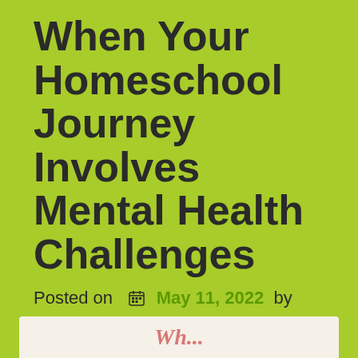When Your Homeschool Journey Involves Mental Health Challenges
Posted on  May 11, 2022  by  SPED Homeschool
[Figure (photo): Partial view of an image at the bottom of the page, showing partial text or illustration on a light background]